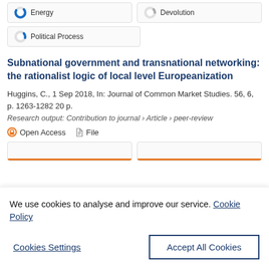[Figure (other): Partial donut/progress icon with 'Energy' filter button]
[Figure (other): Partial donut/progress icon with 'Devolution' filter button (partial, cut off)]
[Figure (other): Partial donut/progress icon with 'Political Process' filter button]
Subnational government and transnational networking: the rationalist logic of local level Europeanization
Huggins, C., 1 Sep 2018, In: Journal of Common Market Studies. 56, 6, p. 1263-1282 20 p.
Research output: Contribution to journal › Article › peer-review
Open Access   File
We use cookies to analyse and improve our service. Cookie Policy
Cookies Settings
Accept All Cookies